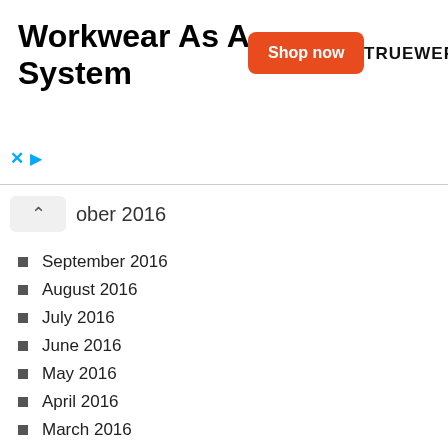[Figure (screenshot): Advertisement banner for Workwear As A System by TRUEWERK with orange Shop now button]
October 2016
September 2016
August 2016
July 2016
June 2016
May 2016
April 2016
March 2016
February 2016
January 2016
December 2015
November 2015
October 2015